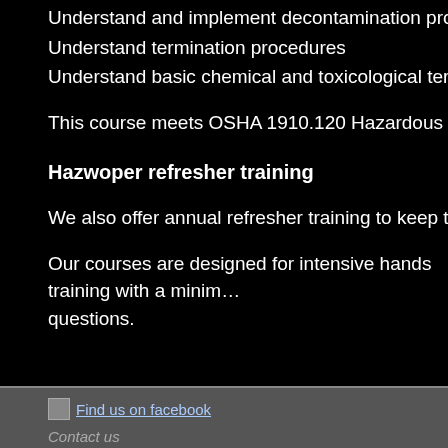Understand and implement decontamination procedures
Understand termination procedures
Understand basic chemical and toxicological terminology and beha…
This course meets OSHA 1910.120 Hazardous Waste Operations a…
Hazwoper refresher training
We also offer annual refresher training to keep teams in practice an…
Our courses are designed for intensive hands training with a minim… questions.
Find us on facebook
Contact us